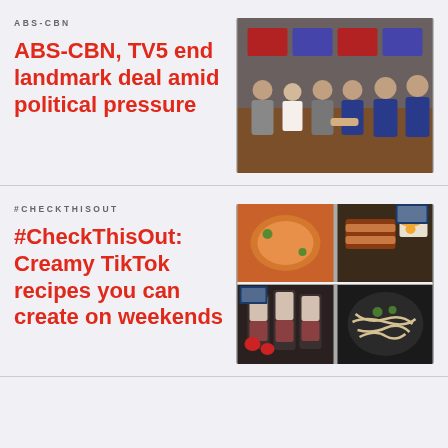ABS-CBN
ABS-CBN, TV5 end landmark deal amid political pressure
[Figure (photo): Group photo of executives shaking hands at a table with logos visible in the background]
#CHECKTHISOUT
#CheckThisOut: Creamy TikTok recipes you can create on weekends
[Figure (photo): Collage of four food photos: pasta dish, glazed meat, fruit cups with cream, and noodles]